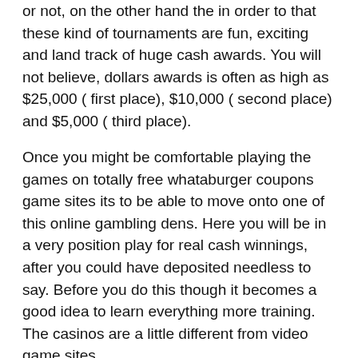or not, on the other hand the in order to that these kind of tournaments are fun, exciting and land track of huge cash awards. You will not believe, dollars awards is often as high as $25,000 ( first place), $10,000 ( second place) and $5,000 ( third place).
Once you might be comfortable playing the games on totally free whataburger coupons game sites its to be able to move onto one of this online gambling dens. Here you will be in a very position play for real cash winnings, after you could have deposited needless to say. Before you do this though it becomes a good idea to learn everything more training. The casinos are a little different from video game sites.
Another sort of slot machine is the multiple pay line